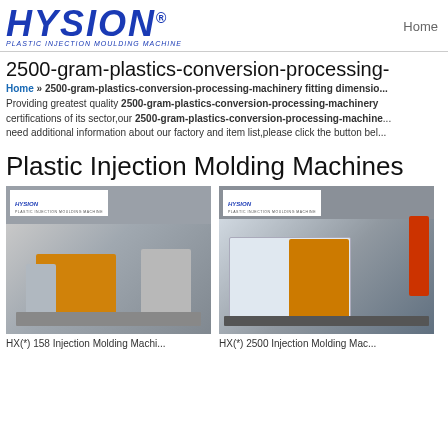HYSION® — Home
2500-gram-plastics-conversion-processing-...
Home » 2500-gram-plastics-conversion-processing-machinery fitting dimensio...
Providing greatest quality 2500-gram-plastics-conversion-processing-machinery... certifications of its sector,our 2500-gram-plastics-conversion-processing-machine... need additional information about our factory and item list,please click the button bel...
Plastic Injection Molding Machines
[Figure (photo): HX(*) 158 Injection Molding Machine in factory, orange and grey injection molding machine with HYSION branding]
HX(*) 158 Injection Molding Machi...
[Figure (photo): HX(*) 2500 Injection Molding Machine in factory, large white and orange injection molding machine with HYSION branding]
HX(*) 2500 Injection Molding Mac...